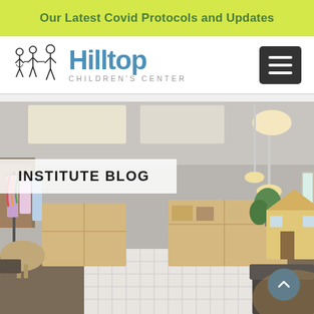Our Latest Covid Protocols and Updates
[Figure (logo): Hilltop Children's Center logo with illustrated children figures and blue text]
[Figure (photo): Interior of a children's classroom/play area with wooden shelving units, dress-up clothes on a rack, a plant, floor mirror, patterned rug, and pendant lights]
INSTITUTE BLOG